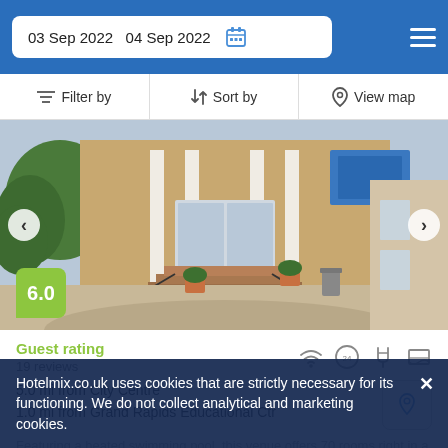03 Sep 2022   04 Sep 2022
Filter by   Sort by   View map
[Figure (photo): Exterior of a brick hotel building with white columns, stairs with railings, potted plants, and a Marriott sign in the background]
6.0
Guest rating
19 reviews
5.0 mi from City Centre
1.0 mi from Grand Rapids Educational Ctr
Featuring a heated swimming pool, this venue offers 70 rooms right in a busy area.
Hotelmix.co.uk uses cookies that are strictly necessary for its functioning. We do not collect analytical and marketing cookies.